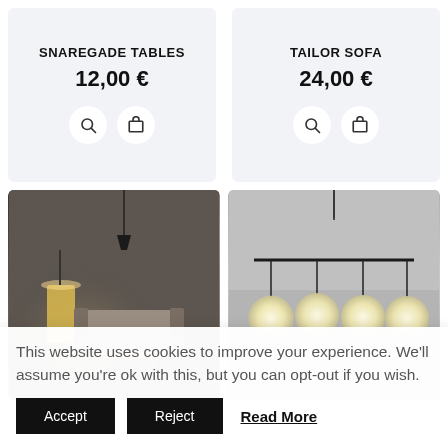SNAREGADE TABLES
12,00 €
TAILOR SOFA
24,00 €
[Figure (photo): Living room scene with a glowing floor lamp and sofa]
[Figure (photo): Four globe pendant lights hanging from a horizontal bar]
This website uses cookies to improve your experience. We'll assume you're ok with this, but you can opt-out if you wish.
Accept   Reject   Read More